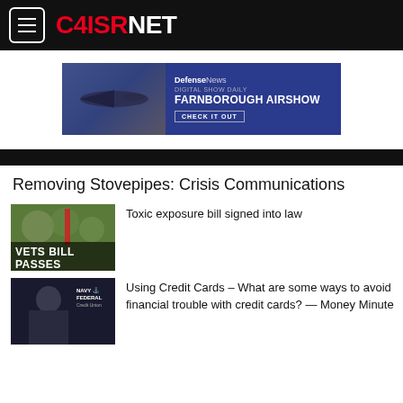C4ISRNET
[Figure (infographic): DefenseNews advertisement banner for Farnborough Airshow Digital Show Daily with aircraft silhouette and 'CHECK IT OUT' button]
Removing Stovepipes: Crisis Communications
[Figure (photo): Crowd scene with veterans, text overlay 'VETS BILL PASSES']
Toxic exposure bill signed into law
[Figure (photo): Woman in dark clothing with Navy Federal Credit Union branding]
Using Credit Cards – What are some ways to avoid financial trouble with credit cards? — Money Minute